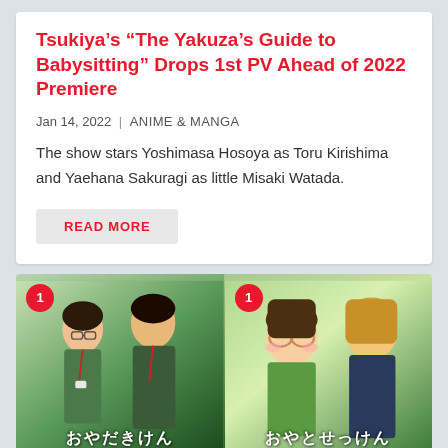Tsukiya's “The Yakuza’s Guide to Babysitting” Drops 1st PV Ahead of 2022 Premiere
Jan 14, 2022 | ANIME & MANGA
The show stars Yoshimasa Hosoya as Toru Kirishima and Yaehana Sakuragi as little Misaki Watada.
READ MORE
[Figure (photo): Side-by-side images: left shows live-action photo of two actors in front of a green background with volume 1 badge and Japanese title text; right shows manga artwork of two characters with volume 1 badge and Japanese title text]